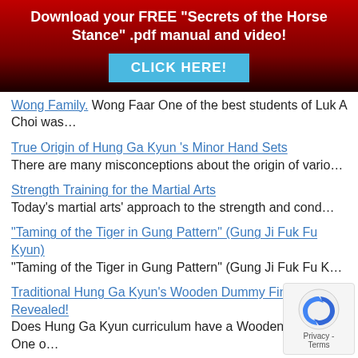[Figure (infographic): Red gradient banner with white bold text: 'Download your FREE "Secrets of the Horse Stance" .pdf manual and video!' and a cyan 'CLICK HERE!' button.]
Wong Family. Wong Faar One of the best students of Luk A Choi was…
True Origin of Hung Ga Kyun 's Minor Hand Sets There are many misconceptions about the origin of vario…
Strength Training for the Martial Arts Today's martial arts' approach to the strength and cond…
"Taming of the Tiger in Gung Pattern" (Gung Ji Fuk Fu Kyun) "Taming of the Tiger in Gung Pattern" (Gung Ji Fuk Fu K…
Traditional Hung Ga Kyun's Wooden Dummy Finally Revealed! Does Hung Ga Kyun curriculum have a Wooden Dummy? One o…
"Tiger of Sai Gwaan": Hung Ga Grand Master Dang Fong Grandmaster Dang Fong (1879 – 1955), was born in the Sa…
[Figure (logo): reCAPTCHA privacy badge with blue arrow icon and 'Privacy - Terms' text]